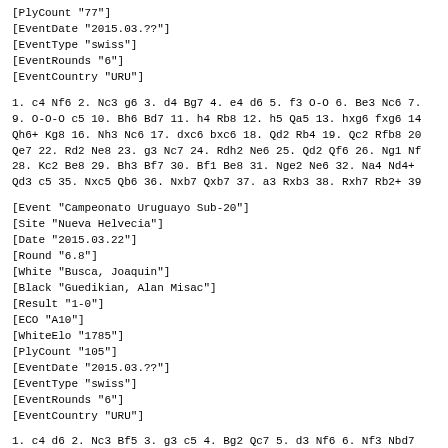[PlyCount "77"]
[EventDate "2015.03.??"]
[EventType "swiss"]
[EventRounds "6"]
[EventCountry "URU"]
1. c4 Nf6 2. Nc3 g6 3. d4 Bg7 4. e4 d6 5. f3 O-O 6. Be3 Nc6 7. 9. O-O-O c5 10. Bh6 Bd7 11. h4 Rb8 12. h5 Qa5 13. hxg6 fxg6 14 Qh6+ Kg8 16. Nh3 Nc6 17. dxc6 bxc6 18. Qd2 Rb4 19. Qc2 Rfb8 20 Qe7 22. Rd2 Ne8 23. g3 Nc7 24. Rdh2 Ne6 25. Qd2 Qf6 26. Ng1 Nf 28. Kc2 Be8 29. Bh3 Bf7 30. Bf1 Be8 31. Nge2 Ne6 32. Na4 Nd4+ Qd3 c5 35. Nxc5 Qb6 36. Nxb7 Qxb7 37. a3 Rxb3 38. Rxh7 Rb2+ 39
[Event "Campeonato Uruguayo Sub-20"]
[Site "Nueva Helvecia"]
[Date "2015.03.22"]
[Round "6.8"]
[White "Busca, Joaquin"]
[Black "Guedikian, Alan Misac"]
[Result "1-0"]
[ECO "A10"]
[WhiteElo "1785"]
[PlyCount "105"]
[EventDate "2015.03.??"]
[EventType "swiss"]
[EventRounds "6"]
[EventCountry "URU"]
1. c4 d6 2. Nc3 Bf5 3. g3 c5 4. Bg2 Qc7 5. d3 Nf6 6. Nf3 Nbd7 Be7 9. Rb1 O-O 10. a3 Rab8 11. b4 Rfd8 12. Nb5 Qb6 13. bxc5 dx 15. Qxa6 bxa6 16. Nxa7 Rxb1 17. Nxb1 e4 18. Nc6 Re8 19. dxe4 B